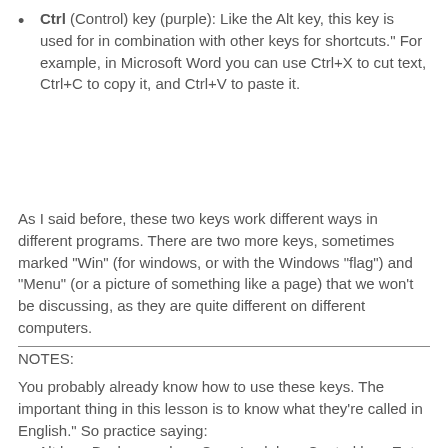Ctrl (Control) key (purple): Like the Alt key, this key is used for in combination with other keys for shortcuts." For example, in Microsoft Word you can use Ctrl+X to cut text, Ctrl+C to copy it, and Ctrl+V to paste it.
As I said before, these two keys work different ways in different programs. There are two more keys, sometimes marked "Win" (for windows, or with the Windows "flag") and "Menu" (or a picture of something like a page) that we won't be discussing, as they are quite different on different computers.
NOTES:
You probably already know how to use these keys. The important thing in this lesson is to know what they're called in English." So practice saying:
  Alt key; Backspace key; Caps Lock key; Control key; Enter key; Shift key; Space bar; Tab key.